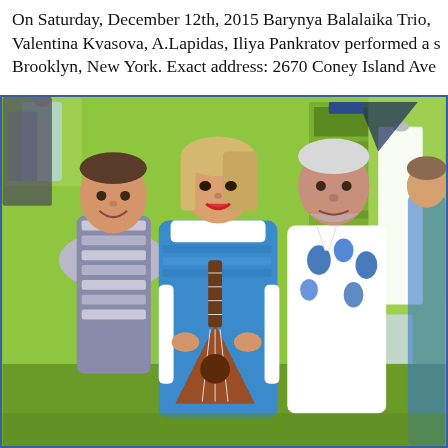On Saturday, December 12th, 2015 Barynya Balalaika Trio, Valentina Kvasova, A.Lapidas, Iliya Pankratov performed a s Brooklyn, New York. Exact address: 2670 Coney Island Ave
[Figure (photo): Three performers in Russian folk costumes standing in a dressing room with lime-green walls. Left: a man in a silver/grey decorative costume. Center: a woman in a blue sequined coat with white fur trim, holding a balalaika. Right: a man in a white shirt with blue floral embroidery. A fourth partially visible person is at far right.]